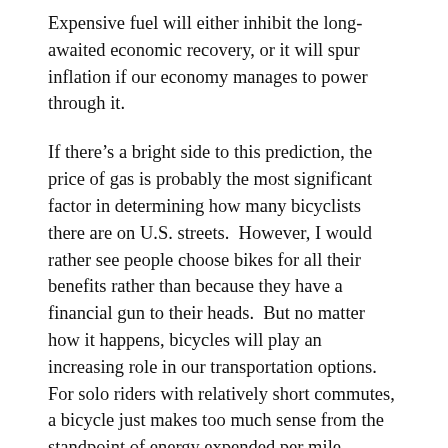Expensive fuel will either inhibit the long-awaited economic recovery, or it will spur inflation if our economy manages to power through it.
If there’s a bright side to this prediction, the price of gas is probably the most significant factor in determining how many bicyclists there are on U.S. streets.  However, I would rather see people choose bikes for all their benefits rather than because they have a financial gun to their heads.  But no matter how it happens, bicycles will play an increasing role in our transportation options.  For solo riders with relatively short commutes, a bicycle just makes too much sense from the standpoint of energy expended per mile traveled.  And because electric assistance extends the range and lowers the effort for a broader section of our community, it really is possible to see bikes in numbers we’ve never seen in modern America.